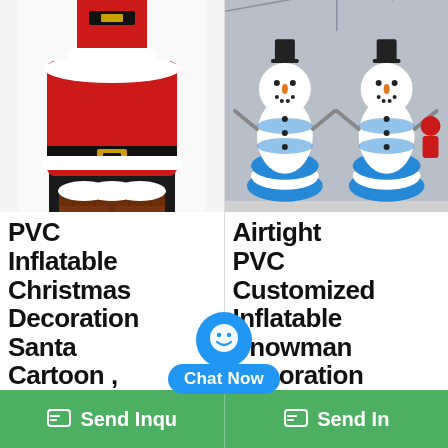[Figure (photo): Inflatable Santa Claus Christmas decoration showing top half of Santa going into chimney, with red coat and white trim, against white background]
PVC Inflatable Christmas Decoration Santa Cartoon ,
[Figure (photo): Inflatable snowman decorations, blue and white striped, multiple snowmen in large warehouse/hall setting]
Airtight PVC Customized Inflatable Snowman Decoration
[Figure (other): Chat Now button overlay - circular blue chat icon with smiley face and 'Chat Now' blue pill button]
Send Inquiry   Send Inquiry